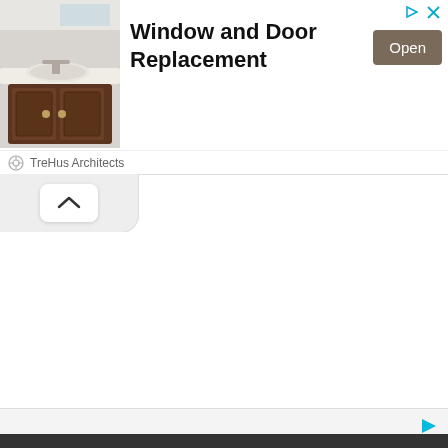[Figure (screenshot): Advertisement banner showing a bathroom vanity with dark wood cabinet and white countertop/sink on the left, bold text 'Window and Door Replacement' in the center, a dark brown 'Open' button on the right, and ad control icons (play and close) in the top-right corner.]
TreHus Architects
[Figure (screenshot): A collapse/toggle button (caret/chevron up icon) inside a white rounded rectangle on a light gray background, indicating a collapsible UI section.]
[Figure (screenshot): Bottom advertisement strip with a cyan/teal play-like arrow icon on the right side against a light gray background, partially showing the top edge of another ad or content block.]